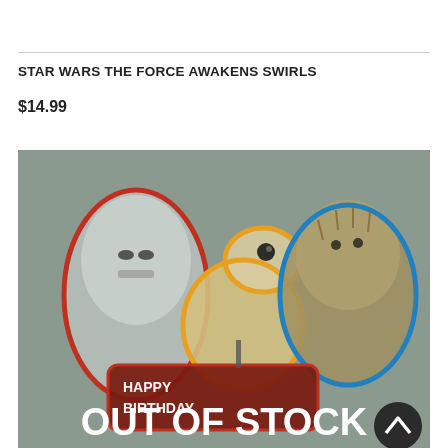STAR WARS THE FORCE AWAKENS SWIRLS
$14.99
[Figure (photo): Product photo of Star Wars The Force Awakens Swirls party decorations showing Stormtrooper, BB-8, Chewbacca, and a Happy Birthday sign with an 'OUT OF STOCK' overlay.]